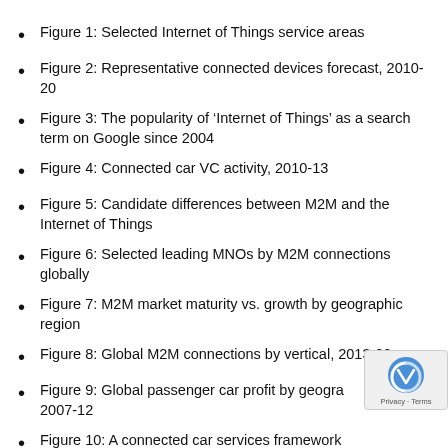Figure 1: Selected Internet of Things service areas
Figure 2: Representative connected devices forecast, 2010-20
Figure 3: The popularity of ‘Internet of Things’ as a search term on Google since 2004
Figure 4: Connected car VC activity, 2010-13
Figure 5: Candidate differences between M2M and the Internet of Things
Figure 6: Selected leading MNOs by M2M connections globally
Figure 7: M2M market maturity vs. growth by geographic region
Figure 8: Global M2M connections by vertical, 2013-20
Figure 9: Global passenger car profit by geographic region, 2007-12
Figure 10: A connected car services framework